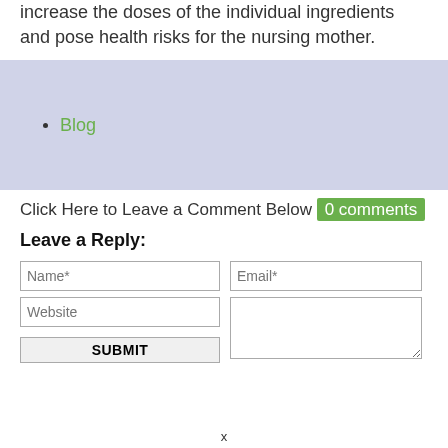increase the doses of the individual ingredients and pose health risks for the nursing mother.
Blog
Click Here to Leave a Comment Below 0 comments
Leave a Reply:
[Figure (other): Web form with Name, Email, Website fields, a textarea, and a SUBMIT button]
x